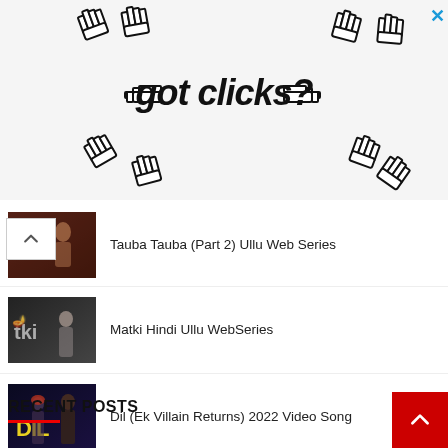[Figure (illustration): Advertisement banner showing pixel-art hand cursor icons and text 'got clicks?' with an X close button in the top right.]
Tauba Tauba (Part 2) Ullu Web Series
Matki Hindi Ullu WebSeries
Dil (Ek Villain Returns) 2022 Video Song
RECENT POSTS